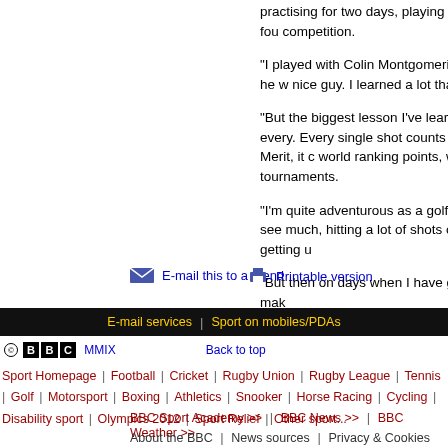practising for two days, playing the pro-am and then fo... competition.
"I played with Colin Montgomerie in Shanghai and he w... nice guy. I learned a lot that day.
"But the biggest lesson I've learned is to grind on every... Every single shot counts towards the Order of Merit, it c... world ranking points, which get you into tournaments.
"I'm quite adventurous as a golfer. I probably don't see ... much, hitting a lot of shots out of the trees and getting u...
"But then on days when I have got my game, I can mak...
E-mail this to a friend
Printable version
E-mail services | Sport on mobiles/PDAs
© BBC MMIX  Back to top
Sport Homepage | Football | Cricket | Rugby Union | Rugby League | Tennis | Golf | Motorsport | Boxing | Athletics | Snooker | Horse Racing | Cycling | Disability sport | Olympics 2012 | Sport Relief | Other sport...
BBC Sport Academy >> | BBC News >> | BBC Weather >>
About the BBC | News sources | Privacy & Cookies Policy | Cont...